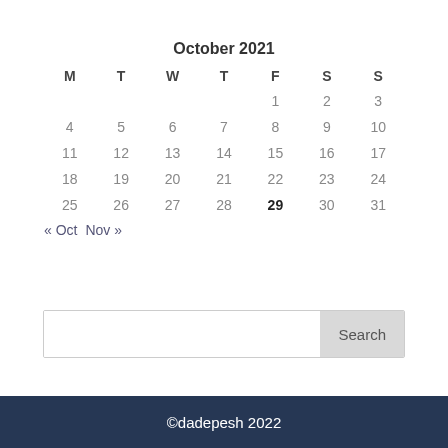October 2021
| M | T | W | T | F | S | S |
| --- | --- | --- | --- | --- | --- | --- |
|  |  |  |  | 1 | 2 | 3 |
| 4 | 5 | 6 | 7 | 8 | 9 | 10 |
| 11 | 12 | 13 | 14 | 15 | 16 | 17 |
| 18 | 19 | 20 | 21 | 22 | 23 | 24 |
| 25 | 26 | 27 | 28 | 29 | 30 | 31 |
« Oct  Nov »
Search
©dadepesh 2022